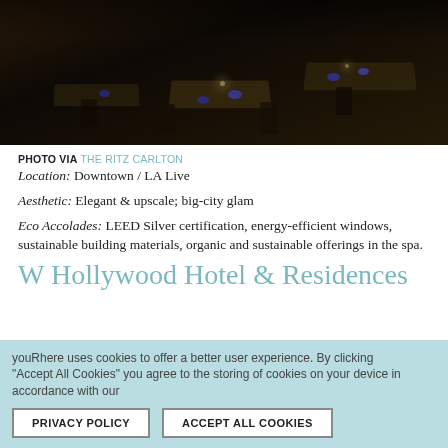[Figure (photo): Dark, atmospheric photo of an upscale restaurant interior with set tables featuring blue accents, dim lighting, and elegant seating.]
PHOTO VIA THE RITZ CARLTON
Location: Downtown / LA Live
Aesthetic: Elegant & upscale; big-city glam
Eco Accolades: LEED Silver certification, energy-efficient windows, sustainable building materials, organic and sustainable offerings in the spa.
W Hollywood Hotel & Residences
youRhere uses cookies to offer a better user experience. By clicking "Accept All Cookies" you agree to the storing of cookies on your device in accordance with our